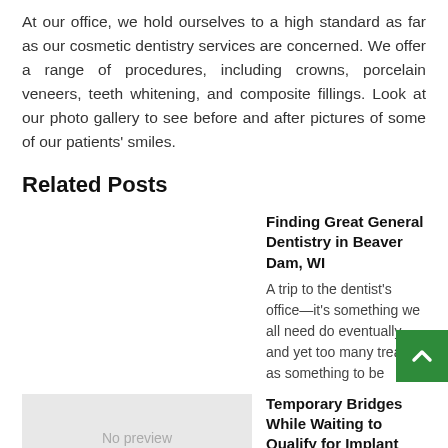At our office, we hold ourselves to a high standard as far as our cosmetic dentistry services are concerned. We offer a range of procedures, including crowns, porcelain veneers, teeth whitening, and composite fillings. Look at our photo gallery to see before and after pictures of some of our patients' smiles.
Related Posts
[Figure (other): Empty image placeholder area (no image shown) for first related post]
Finding Great General Dentistry in Beaver Dam, WI
A trip to the dentist's office—it's something we all need do eventually, and yet too many treat it as something to be
[Figure (other): No preview placeholder image for second related post about Temporary Bridges]
Temporary Bridges While Waiting to Qualify for Implant Dentistry Services in Camas WA
An accident that causes